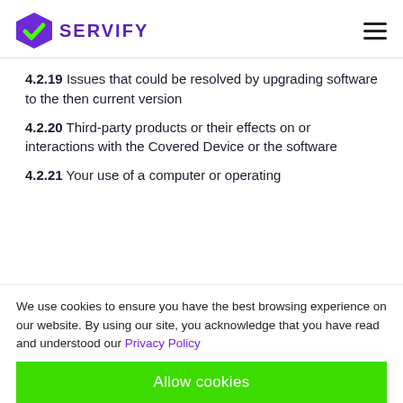SERVIFY
4.2.19  Issues that could be resolved by upgrading software to the then current version
4.2.20  Third-party products or their effects on or interactions with the Covered Device or the software
4.2.21  Your use of a computer or operating
We use cookies to ensure you have the best browsing experience on our website. By using our site, you acknowledge that you have read and understood our Privacy Policy
Allow cookies